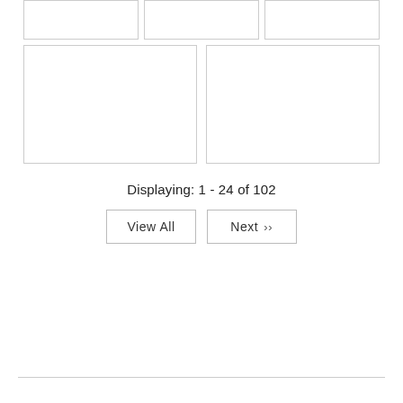[Figure (other): Top row of three small image placeholder cards]
[Figure (other): Middle row of two large image placeholder cards]
Displaying: 1 - 24 of 102
View All
Next »